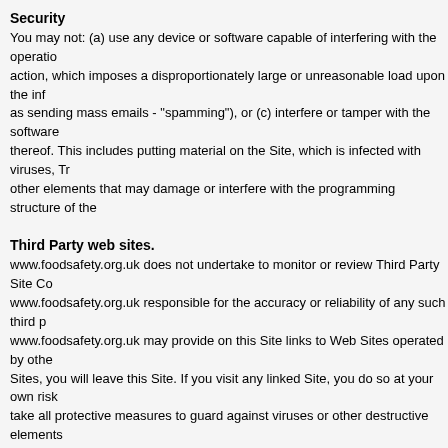Security
You may not: (a) use any device or software capable of interfering with the operation, action, which imposes a disproportionately large or unreasonable load upon the infrastructure (such as sending mass emails - "spamming"), or (c) interfere or tamper with the software or content thereof. This includes putting material on the Site, which is infected with viruses, Trojans or other elements that may damage or interfere with the programming structure of the
Third Party web sites.
www.foodsafety.org.uk does not undertake to monitor or review Third Party Site Content. www.foodsafety.org.uk responsible for the accuracy or reliability of any such third party. www.foodsafety.org.uk may provide on this Site links to Web Sites operated by other Sites, you will leave this Site. If you visit any linked Site, you do so at your own risk take all protective measures to guard against viruses or other destructive elements. makes no warranty or representation regarding any linked Web Sites or the information of the products or services described thereon. Links do not imply that www.foodsafety sponsors, endorses, is affiliated or associated with, or is legally authorized to use any logo or copyright symbol displayed in or accessible through the links, or that any linked any trademark, trade name, logo or copyright symbol of www.foodsafety.org.uk or any subsidiaries.
External links to the Site
All links to the Site must be approved in writing by www.foodsafety.org.uk, except the consents to links in which: (i) the link is a text-only link containing only the name of